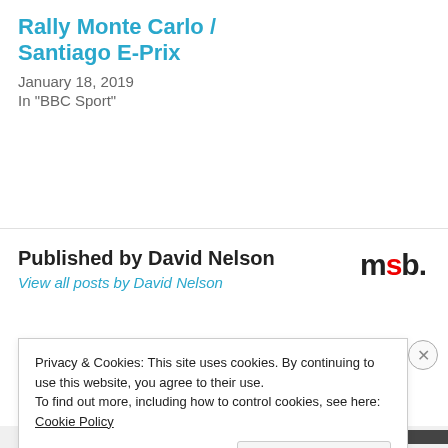Rally Monte Carlo / Santiago E-Prix
January 18, 2019
In "BBC Sport"
Published by David Nelson
View all posts by David Nelson
[Figure (logo): msb. logo in black bold text with red dot on 's']
Privacy & Cookies: This site uses cookies. By continuing to use this website, you agree to their use.
To find out more, including how to control cookies, see here: Cookie Policy
Close and accept